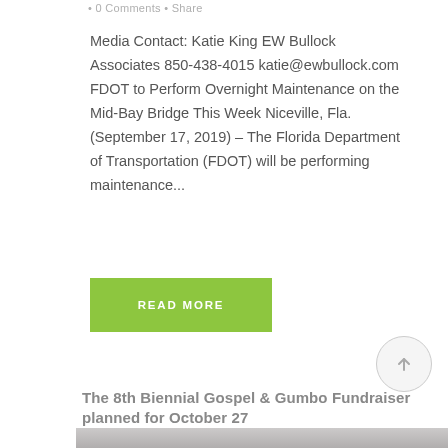• 0 Comments • Share
Media Contact: Katie King EW Bullock Associates 850-438-4015 katie@ewbullock.com FDOT to Perform Overnight Maintenance on the Mid-Bay Bridge This Week Niceville, Fla. (September 17, 2019) – The Florida Department of Transportation (FDOT) will be performing maintenance...
READ MORE
The 8th Biennial Gospel & Gumbo Fundraiser planned for October 27
[Figure (photo): Bottom portion of a photo showing people at an outdoor event under a tent]